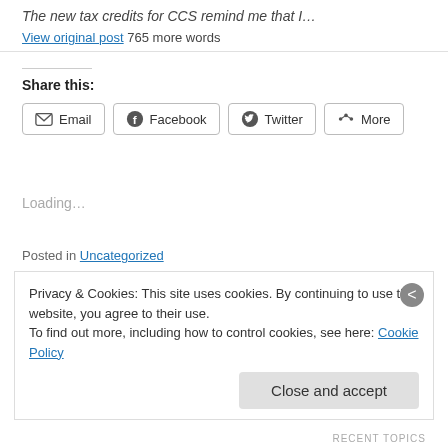The new tax credits for CCS remind me that I…
View original post 765 more words
Share this:
Email  Facebook  Twitter  More
Loading…
Posted in Uncategorized
Leave a comment
Privacy & Cookies: This site uses cookies. By continuing to use this website, you agree to their use. To find out more, including how to control cookies, see here: Cookie Policy
Close and accept